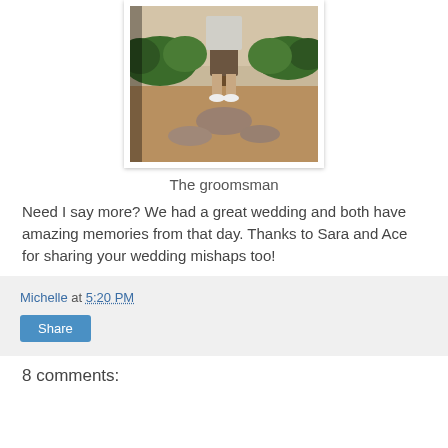[Figure (photo): A person (groomsman) standing outside near a tree and bushes, wearing brown shorts, a light t-shirt, and white shoes. The background shows a building exterior with greenery and mulch.]
The groomsman
Need I say more? We had a great wedding and both have amazing memories from that day. Thanks to Sara and Ace for sharing your wedding mishaps too!
Michelle at 5:20 PM
Share
8 comments: